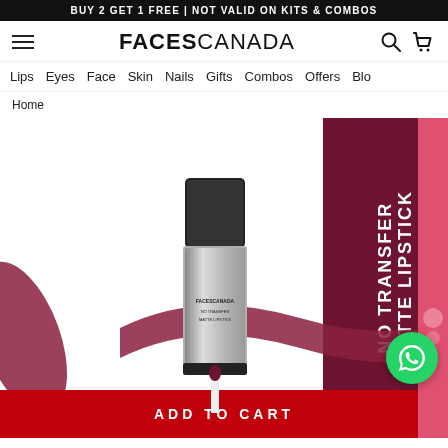BUY 2 GET 1 FREE | NOT VALID ON KITS & COMBOS
[Figure (logo): FACESCANADA logo with hamburger menu, search and cart icons]
Lips
Eyes
Face
Skin
Nails
Gifts
Combos
Offers
Blo
Home
[Figure (photo): Faces Canada No Transfer Matte Lipstick product image showing a liquid lipstick tube open with wand, dark berry/burgundy color swatch smear behind it. Right side shows dark red panel with text NO TRANSFER MATTE LIPSTICK in white vertical text.]
ADD TO CART